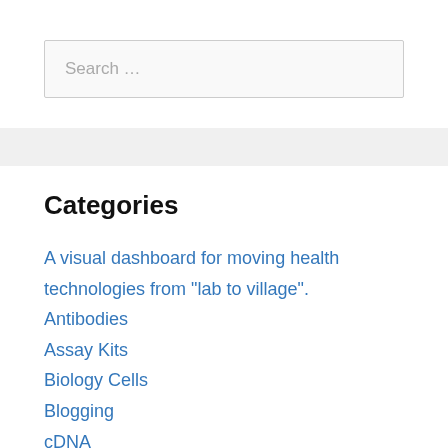Search …
Categories
A visual dashboard for moving health technologies from "lab to village".
Antibodies
Assay Kits
Biology Cells
Blogging
cDNA